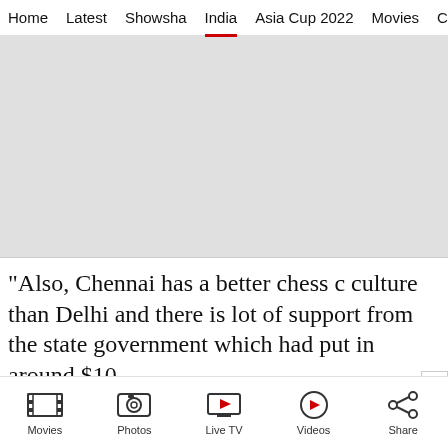Home   Latest   Showsha   India   Asia Cup 2022   Movies   C
[Figure (photo): Gray placeholder image area]
“Also, Chennai has a better chess c culture than Delhi and there is lot of support from the state government which had put in around $10
Movies   Photos   Live TV   Videos   Share